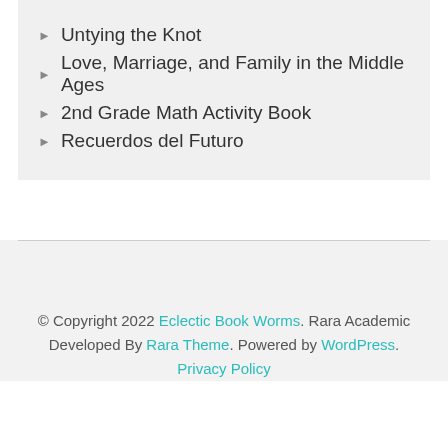Untying the Knot
Love, Marriage, and Family in the Middle Ages
2nd Grade Math Activity Book
Recuerdos del Futuro
© Copyright 2022 Eclectic Book Worms. Rara Academic Developed By Rara Theme. Powered by WordPress. Privacy Policy